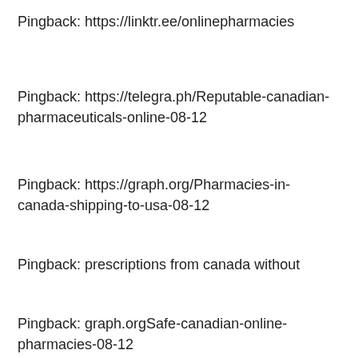Pingback: https://linktr.ee/onlinepharmacies
Pingback: https://telegra.ph/Reputable-canadian-pharmaceuticals-online-08-12
Pingback: https://graph.org/Pharmacies-in-canada-shipping-to-usa-08-12
Pingback: prescriptions from canada without
Pingback: graph.orgSafe-canadian-online-pharmacies-08-12